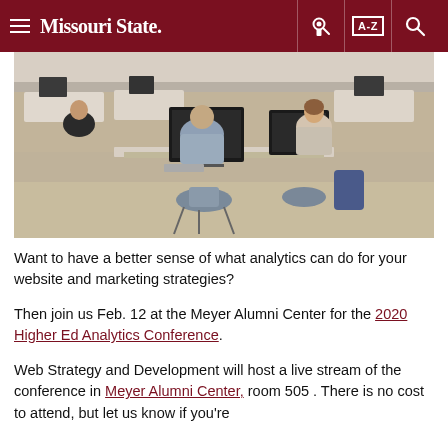Missouri State — navigation header with hamburger menu, key icon, A-Z index, and search icon
[Figure (photo): Students working at computers in an open office or computer lab setting, sitting around desks with monitors]
Want to have a better sense of what analytics can do for your website and marketing strategies?
Then join us Feb. 12 at the Meyer Alumni Center for the 2020 Higher Ed Analytics Conference.
Web Strategy and Development will host a live stream of the conference in Meyer Alumni Center, room 505 . There is no cost to attend, but let us know if you're